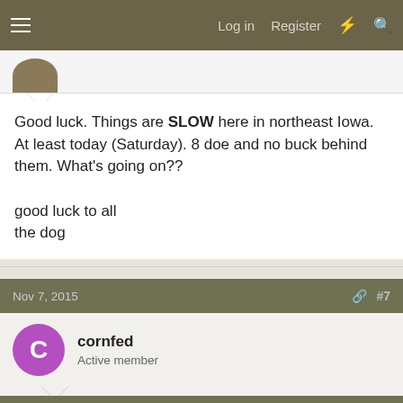Log in  Register
Good luck. Things are SLOW here in northeast Iowa. At least today (Saturday). 8 doe and no buck behind them. What's going on??

good luck to all
the dog
Nov 7, 2015  #7
cornfed
Active member
Good luck guys. I loaned my slug gun to a coworker to take to Minnesota. Maybe someday I'll get to take it up there myself.
Nov 8, 2015